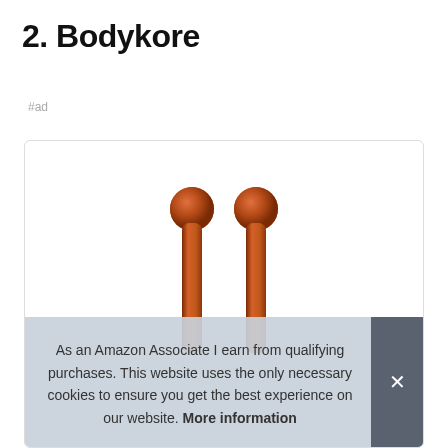2. Bodykore
#ad
[Figure (photo): Two brown wooden massage sticks with round ball tops (Bodykore product), shown on white background inside a product card with a rounded border.]
As an Amazon Associate I earn from qualifying purchases. This website uses the only necessary cookies to ensure you get the best experience on our website. More information